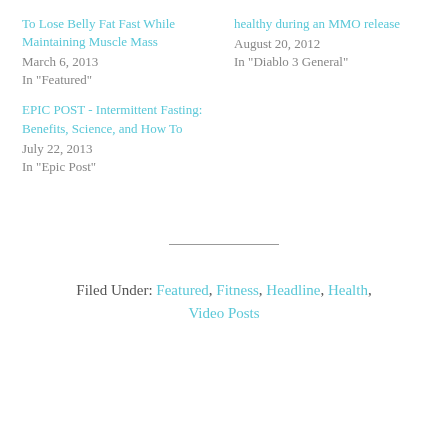To Lose Belly Fat Fast While Maintaining Muscle Mass
March 6, 2013
In "Featured"
healthy during an MMO release
August 20, 2012
In "Diablo 3 General"
EPIC POST - Intermittent Fasting: Benefits, Science, and How To
July 22, 2013
In "Epic Post"
Filed Under: Featured, Fitness, Headline, Health, Video Posts